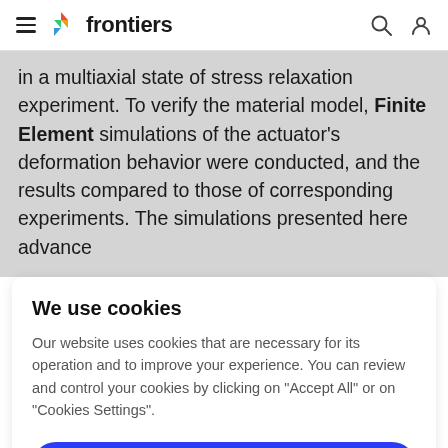frontiers
in a multiaxial state of stress relaxation experiment. To verify the material model, Finite Element simulations of the actuator's deformation behavior were conducted, and the results compared to those of corresponding experiments. The simulations presented here advance
We use cookies
Our website uses cookies that are necessary for its operation and to improve your experience. You can review and control your cookies by clicking on "Accept All" or on "Cookies Settings".
Accept Cookies
Cookies Settings